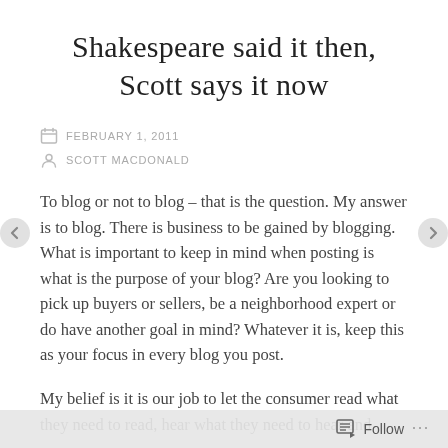Shakespeare said it then, Scott says it now
FEBRUARY 1, 2011
SCOTT MACDONALD
To blog or not to blog – that is the question.  My answer is to blog. There is business to be gained by blogging. What is important to keep in mind when posting is what is the purpose of your blog?  Are you looking to pick up buyers or sellers, be a neighborhood expert or do have another goal in mind?   Whatever it is, keep this as your focus in every blog you post.
My belief is it is our job to let the consumer read what they need to read, hear what they need to hear and